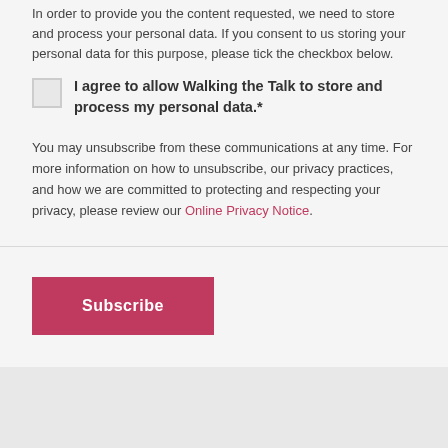In order to provide you the content requested, we need to store and process your personal data. If you consent to us storing your personal data for this purpose, please tick the checkbox below.
I agree to allow Walking the Talk to store and process my personal data.*
You may unsubscribe from these communications at any time. For more information on how to unsubscribe, our privacy practices, and how we are committed to protecting and respecting your privacy, please review our Online Privacy Notice.
Subscribe